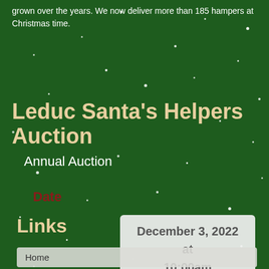grown over the years. We now deliver more than 185 hampers at Christmas time.
Leduc Santa's Helpers Auction
Annual Auction
Date
December 3, 2022 at 10:00am
Links
Home